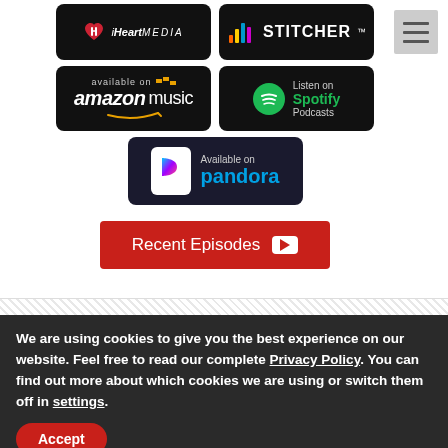[Figure (logo): iHeartMedia podcast badge - black rounded rectangle with iHeart logo and MEDIA text]
[Figure (logo): Stitcher podcast badge - black rounded rectangle with Stitcher logo]
[Figure (logo): Amazon Music available on badge - black rounded rectangle]
[Figure (logo): Listen on Spotify Podcasts badge - black rounded rectangle with Spotify green logo]
[Figure (logo): Available on Pandora badge - dark rounded rectangle with Pandora P logo]
Recent Episodes
We are using cookies to give you the best experience on our website. Feel free to read our complete Privacy Policy. You can find out more about which cookies we are using or switch them off in settings.
Accept